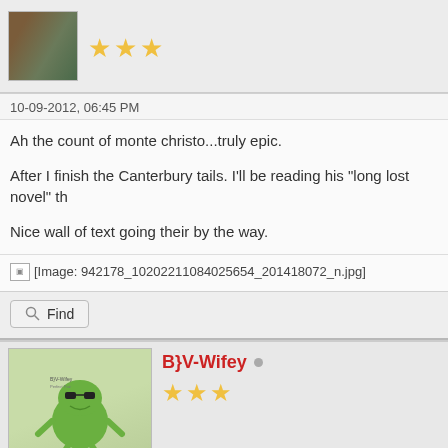[Figure (photo): User avatar thumbnail at top, partially visible, brown/green tones, with 3 gold stars rating next to it]
10-09-2012, 06:45 PM
Ah the count of monte christo...truly epic.
After I finish the Canterbury tails. I'll be reading his "long lost novel" th
Nice wall of text going their by the way.
[Figure (other): Broken image placeholder with filename: 942178_10202211084025654_201418072_n.jpg]
Find
[Figure (illustration): B}V-Wifey user avatar: cartoon frog character with sunglasses]
B}V-Wifey
★★★ (3 stars rating)
10-09-2012, 07:49 PM
Partial post text cut off at bottom